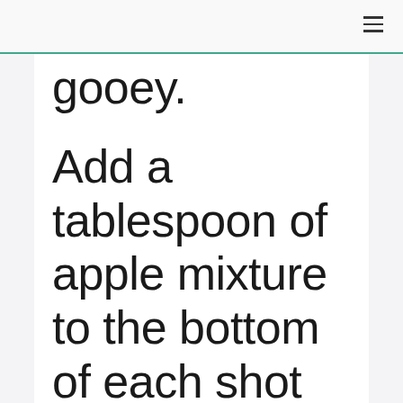gooey.
Add a tablespoon of apple mixture to the bottom of each shot